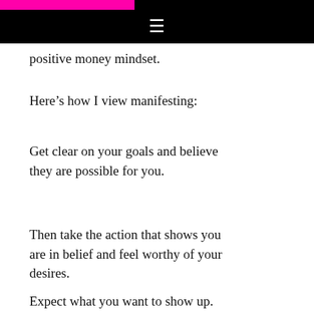≡
positive money mindset.
Here's how I view manifesting:
Get clear on your goals and believe they are possible for you.
Then take the action that shows you are in belief and feel worthy of your desires.
Expect what you want to show up.